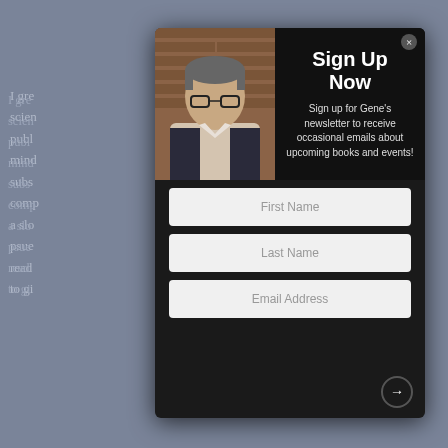I gre... science... was published... in my mind... subscr... comp... still a slo... psue... g. I'll read... just to gi...
[Figure (screenshot): Newsletter sign-up modal popup overlay on a website. The modal has a dark background with a photo of a middle-aged man with glasses on the left side, and 'Sign Up Now' heading with description text on the right. Below are three input fields: First Name, Last Name, and Email Address. A close button is in the top right and a next/arrow button in the bottom right.]
Sign Up Now
Sign up for Gene's newsletter to receive occasional emails about upcoming books and events!
First Name
Last Name
Email Address
I fou... and beca... you can... k for a go... t role... By vi... g.